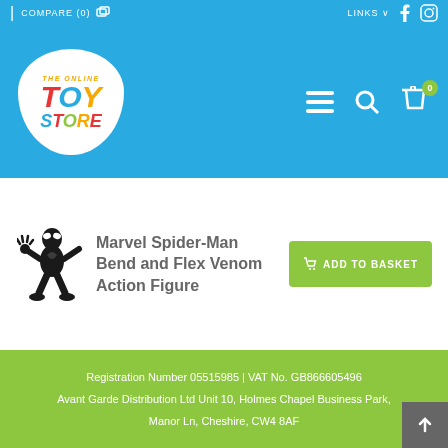| COMPARE (0)   LINKS  f  [instagram]
[Figure (logo): The Online Toy Store logo - circular badge with colorful text on white background]
Marvel Spider-Man Bend and Flex Venom Action Figure
[Figure (illustration): Venom action figure - black spidery character in action pose]
ADD TO BASKET
Registration Number 05515985 | VAT No. GB866605496
Avant Garde Distribution Ltd Unit 10, Holmes Chapel Business Park,
Manor Ln, Cheshire, CW4 8AF